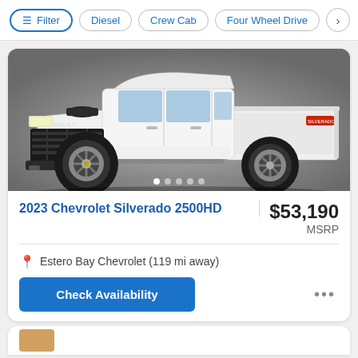Filter | Diesel | Crew Cab | Four Wheel Drive
[Figure (photo): White 2023 Chevrolet Silverado 2500HD truck shown from driver's side profile against gray studio background]
2023 Chevrolet Silverado 2500HD
$53,190 MSRP
Estero Bay Chevrolet (119 mi away)
Check Availability